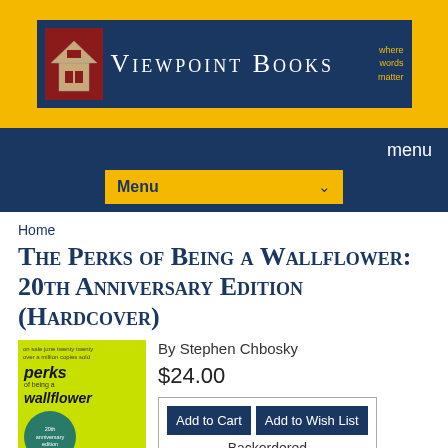[Figure (logo): Viewpoint Books logo — dark blue rectangle with building icon and yellow tagline 'where words matter' on gold background]
menu
Menu
Home
The Perks of Being a Wallflower: 20th Anniversary Edition (Hardcover)
[Figure (photo): Book cover of 'The Perks of Being a Wallflower' — yellow/green cover with title in italic text and teal anniversary badge]
By Stephen Chbosky
$24.00
Add to Cart   Add to Wish List
Backordered
Description